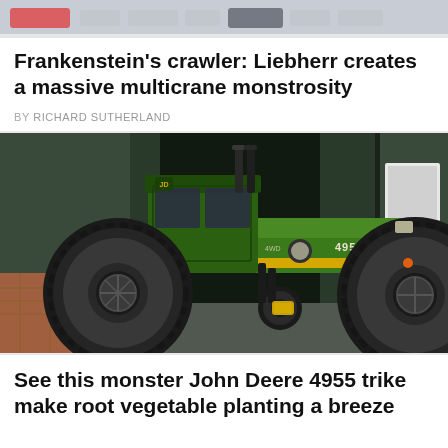Frankenstein's crawler: Liebherr creates a massive multicrane monstrosity
BY RICHARD SUTHERLAND
[Figure (photo): A large green John Deere 4955 tractor with massive dual rear tyres parked inside or exiting a dark green agricultural building. The tractor is green with yellow stripe detailing and the number 4955 is visible on the side.]
See this monster John Deere 4955 trike make root vegetable planting a breeze